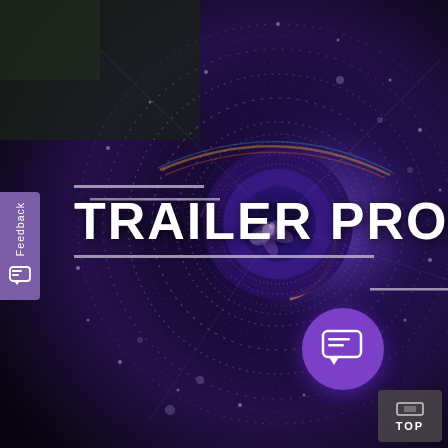[Figure (illustration): Dark cinematic camera lens background with concentric swirling circles of dots and light streaks, purple and rainbow reflective highlights at center, dramatic moody lighting]
TRAILER PRODUC
[Figure (infographic): Feedback tab on the left side: vertical purple tab with 'Feedback' text rotated vertically and a chat icon below]
[Figure (infographic): Purple circular chat/message bubble button in lower right area of image]
[Figure (infographic): Dark grey 'TOP' button in bottom right corner with a monitor/screen icon above the text]